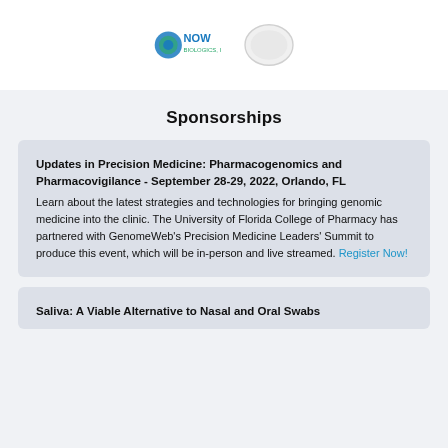[Figure (logo): NOW Biologics Inc logo and white pill/tablet image side by side]
Sponsorships
Updates in Precision Medicine: Pharmacogenomics and Pharmacovigilance - September 28-29, 2022, Orlando, FL
Learn about the latest strategies and technologies for bringing genomic medicine into the clinic. The University of Florida College of Pharmacy has partnered with GenomeWeb's Precision Medicine Leaders' Summit to produce this event, which will be in-person and live streamed. Register Now!
Saliva: A Viable Alternative to Nasal and Oral Swabs